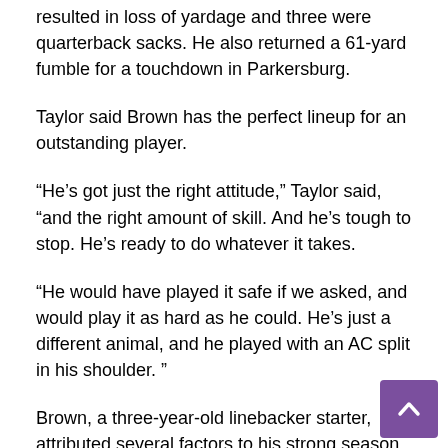resulted in loss of yardage and three were quarterback sacks. He also returned a 61-yard fumble for a touchdown in Parkersburg.
Taylor said Brown has the perfect lineup for an outstanding player.
“He’s got just the right attitude,” Taylor said, “and the right amount of skill. And he’s tough to stop. He’s ready to do whatever it takes.
“He would have played it safe if we asked, and would play it as hard as he could. He’s just a different animal, and he played with an AC split in his shoulder. ”
Brown, a three-year-old linebacker starter, attributed several factors to his strong season, which also included a first-team spot on the Class AAA All-State team.
“The most important thing is probably to pay attention to the details,” said Brown, “and know the game. Being able